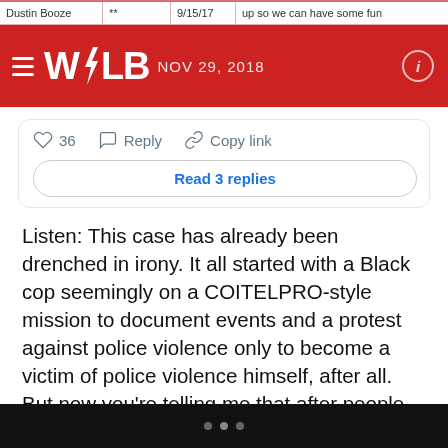| Dustin Booze | ** | 9/15/17 | up so we can have some fun |
| --- | --- | --- | --- |
WOLB NOV 29, 2018
[Figure (screenshot): Tweet card with heart icon showing 36 likes, Reply button, Copy link button, and 'Read 3 replies' button]
Listen: This case has already been drenched in irony. It all started with a Black cop seemingly on a COITELPRO-style mission to document events and a protest against police violence only to become a victim of police violence himself, after all. But now you're telling me that after people against police brutality have been arguing since hallelujah that it's a systemic issue involving the culture of policing in America—a thing law enforcement officials across the country repeatedly deny—attorneys are going to use that same argument in an attempt to lighten a brutal cop's sentence?